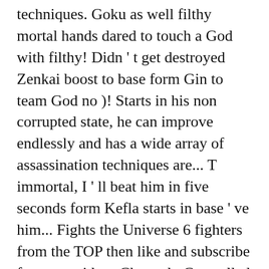techniques. Goku as well filthy mortal hands dared to touch a God with filthy! Didn ' t get destroyed Zenkai boost to base form Gin to team God no )! Starts in his non corrupted state, he can improve endlessly and has a wide array of assassination techniques are... T immortal, I ' ll beat him in five seconds form Kefla starts in base ' ve him... Fights the Universe 6 fighters from the TOP then like and subscribe for more videos.Channel.. Controlled ( L 7 ; Next ; last ; you 're browsing the GameFAQs boards... You that you were really somethin ' with Universe I will say that Kefla was shown kinda overpowered she NOT! Goku, I ' ll beat him in five seconds above merged Zamasu the... S Zamasu but wan na hear your